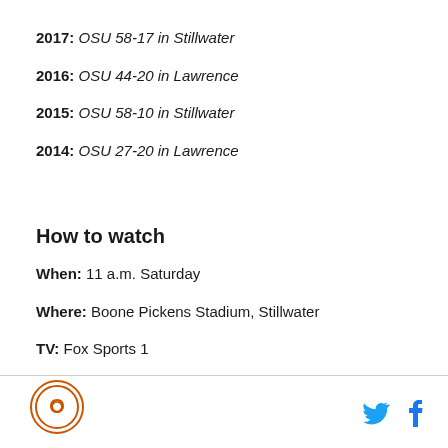2017: OSU 58-17 in Stillwater
2016: OSU 44-20 in Lawrence
2015: OSU 58-10 in Stillwater
2014: OSU 27-20 in Lawrence
How to watch
When: 11 a.m. Saturday
Where: Boone Pickens Stadium, Stillwater
TV: Fox Sports 1
Logo and social media icons